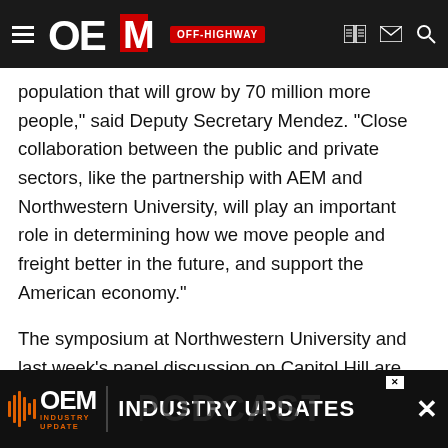OEM OFF-HIGHWAY
population that will grow by 70 million more people," said Deputy Secretary Mendez. “Close collaboration between the public and private sectors, like the partnership with AEM and Northwestern University, will play an important role in determining how we move people and freight better in the future, and support the American economy."
The symposium at Northwestern University and last week’s panel discussion on Capitol Hill are both part of AEM’s broader Infrastructure Vision 2050 initiative, which seeks to elevate the national discussion about the future of infrastructure and ensure that equipment manufacturers are positioned to help build and maintain America’s infrastructure.
[Figure (other): OEM Industry Update / Industry Updates advertisement banner at the bottom of the page with a close button]